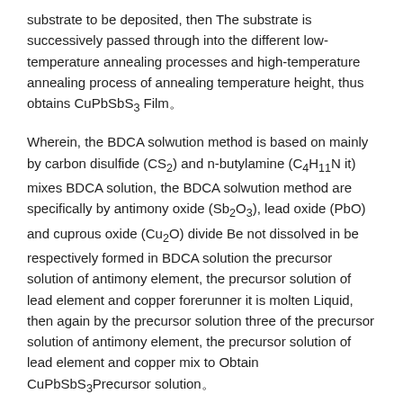substrate to be deposited, then The substrate is successively passed through into the different low-temperature annealing processes and high-temperature annealing process of annealing temperature height, thus obtains CuPbSbS3 Film。
Wherein, the BDCA solwution method is based on mainly by carbon disulfide (CS2) and n-butylamine (C4H11N it) mixes BDCA solution, the BDCA solwution method are specifically by antimony oxide (Sb2O3), lead oxide (PbO) and cuprous oxide (Cu2O) divide Be not dissolved in be respectively formed in BDCA solution the precursor solution of antimony element, the precursor solution of lead element and copper forerunner it is molten Liquid, then again by the precursor solution three of the precursor solution of antimony element, the precursor solution of lead element and copper mix to Obtain CuPbSbS3Precursor solution。
In addition, the low-temperature annealing process is used for dry out solvent, the high-temperature annealing process is for making CuPbSbS3Crystallization To form